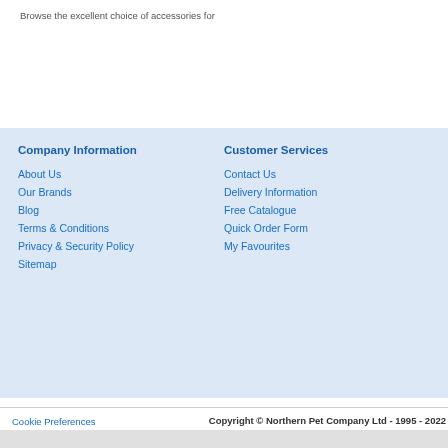Browse the excellent choice of accessories for
Company Information
About Us
Our Brands
Blog
Terms & Conditions
Privacy & Security Policy
Sitemap
Customer Services
Contact Us
Delivery Information
Free Catalogue
Quick Order Form
My Favourites
Cookie Preferences
Copyright © Northern Pet Company Ltd - 1995 - 2022
Sitemap | Back To T